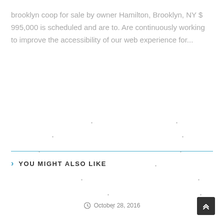brooklyn coop for sale by owner Hamilton, Brooklyn, NY $ 995,000 is scheduled and are to. Are continuously working to improve the accessibility of our web experience for...
[Figure (other): Scattered small dots/marks across a white background area, suggesting redacted or faded content]
YOU MIGHT ALSO LIKE
October 28, 2016